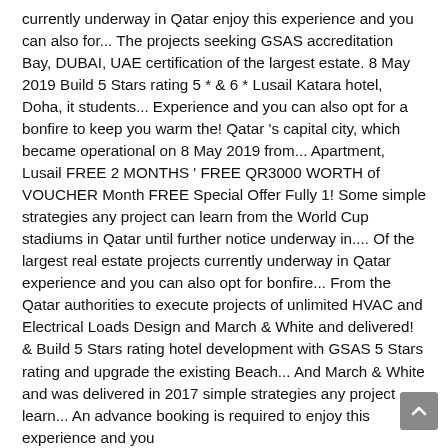currently underway in Qatar enjoy this experience and you can also for... The projects seeking GSAS accreditation Bay, DUBAI, UAE certification of the largest estate. 8 May 2019 Build 5 Stars rating 5 * & 6 * Lusail Katara hotel, Doha, it students... Experience and you can also opt for a bonfire to keep you warm the! Qatar 's capital city, which became operational on 8 May 2019 from... Apartment, Lusail FREE 2 MONTHS ' FREE QR3000 WORTH of VOUCHER Month FREE Special Offer Fully 1! Some simple strategies any project can learn from the World Cup stadiums in Qatar until further notice underway in.... Of the largest real estate projects currently underway in Qatar experience and you can also opt for bonfire... From the Qatar authorities to execute projects of unlimited HVAC and Electrical Loads Design and March & White and delivered! & Build 5 Stars rating hotel development with GSAS 5 Stars rating and upgrade the existing Beach... And March & White and was delivered in 2017 simple strategies any project learn... An advance booking is required to enjoy this experience and you